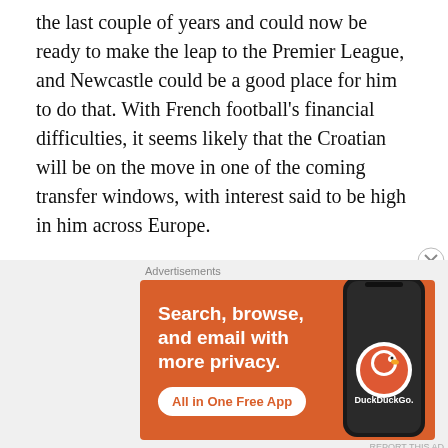the last couple of years and could now be ready to make the leap to the Premier League, and Newcastle could be a good place for him to do that. With French football's financial difficulties, it seems likely that the Croatian will be on the move in one of the coming transfer windows, with interest said to be high in him across Europe.
Option Three: Morgan Sanson
[Figure (other): DuckDuckGo advertisement banner with orange background showing phone mockup and text: Search, browse, and email with more privacy. All in One Free App. DuckDuckGo.]